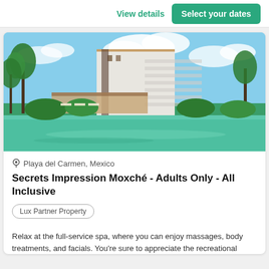View details
Select your dates
[Figure (photo): Aerial/exterior view of Secrets Impression Moxché hotel — a large modern white multi-story building with palm trees and a turquoise pool/lagoon in the foreground, blue sky with clouds in the background.]
Playa del Carmen, Mexico
Secrets Impression Moxché - Adults Only - All Inclusive
Lux Partner Property
Relax at the full-service spa, where you can enjoy massages, body treatments, and facials. You're sure to appreciate the recreational